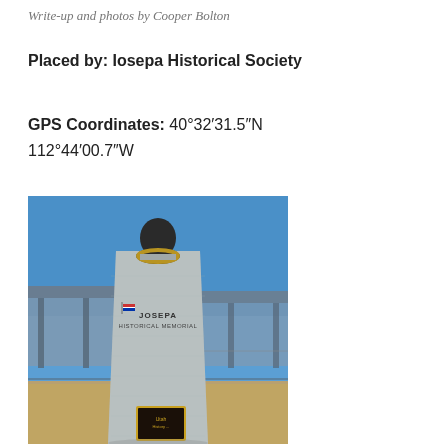Write-up and photos by Cooper Bolton
Placed by: Iosepa Historical Society
GPS Coordinates: 40°32′31.5″N 112°44′00.7″W
[Figure (photo): Photograph of the Iosepa Historical Memorial monument — a tall grey stone pillar with a bronze bust on top wearing a lei, inscribed with 'JOSEPA HISTORICAL MEMORIAL'. A golden plaque is attached near the base. Background shows a blue sky and a covered structure.]